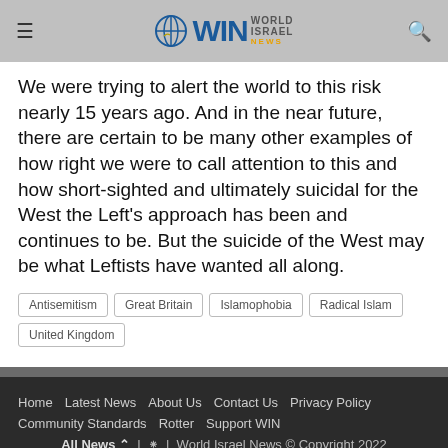WIN World Israel News
We were trying to alert the world to this risk nearly 15 years ago. And in the near future, there are certain to be many other examples of how right we were to call attention to this and how short-sighted and ultimately suicidal for the West the Left's approach has been and continues to be. But the suicide of the West may be what Leftists have wanted all along.
Antisemitism
Great Britain
Islamophobia
Radical Islam
United Kingdom
Home  Latest News  About Us  Contact Us  Privacy Policy  Community Standards  Rotter  Support WIN  All News ∧ | ⊕ | World Israel News © Copyright 2022